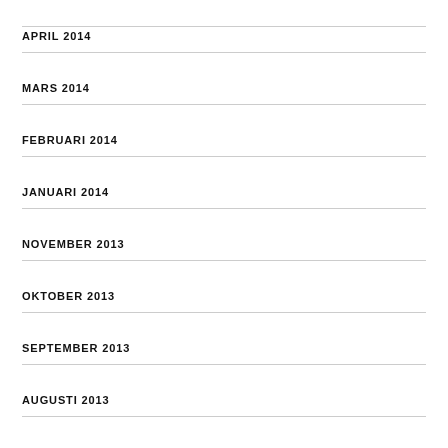APRIL 2014
MARS 2014
FEBRUARI 2014
JANUARI 2014
NOVEMBER 2013
OKTOBER 2013
SEPTEMBER 2013
AUGUSTI 2013